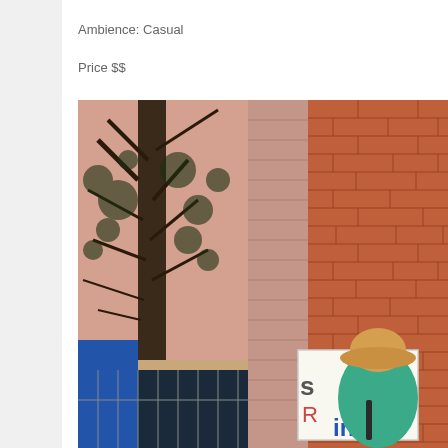Ambience: Casual
Price $$
[Figure (photo): Outdoor scene showing a person wearing a tan bucket hat and teal shirt standing in front of a red brick wall, with a tree to the left and a white sign with blue text ('old', 'inks') visible. A blue item and chain-link fence are visible in the lower left.]